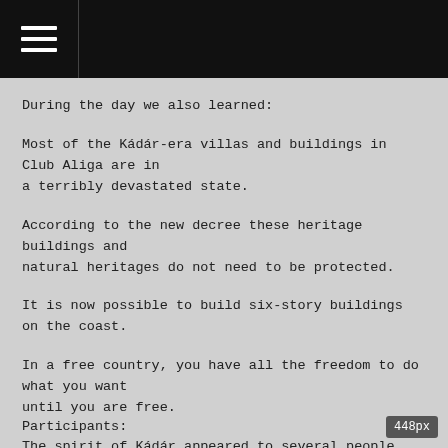During the day we also learned:
Most of the Kádár-era villas and buildings in Club Aliga are in a terribly devastated state.
According to the new decree these heritage buildings and natural heritages do not need to be protected.
It is now possible to build six-story buildings on the coast.
In a free country, you have all the freedom to do what you want until you are free.
The spirit of Kádár appeared to several people here.
Participants: